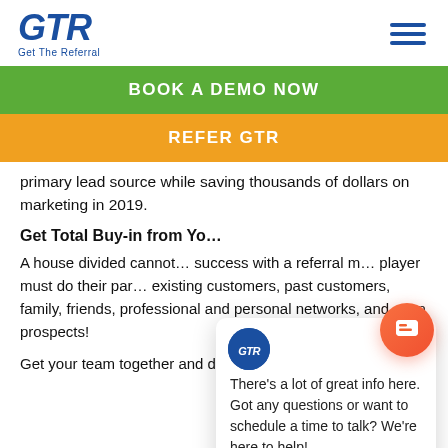GTR Get The Referral
BOOK A DEMO NOW
REFER GTR
primary lead source while saving thousands of dollars on marketing in 2019.
Get Total Buy-in from Yo…
A house divided cannot… success with a referral m… player must do their par… existing customers, past customers, family, friends, professional and personal networks, and even prospects!
Get your team together and develop the workflow
[Figure (screenshot): Chat popup with GTR logo, close button, and message: There's a lot of great info here. Got any questions or want to schedule a time to talk? We're here to help!]
[Figure (infographic): Orange circular chat button in bottom-right corner]